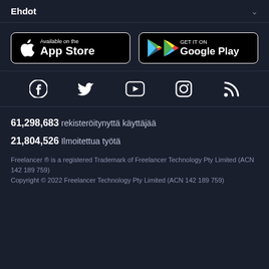Ehdot
[Figure (other): App Store and Google Play download buttons]
[Figure (other): Social media icons: Facebook, Twitter, YouTube, Instagram, RSS]
61,298,683  rekisteröitynyttä käyttäjää
21,804,526  Ilmoitettua työtä
Freelancer ® is a registered Trademark of Freelancer Technology Pty Limited (ACN 142 189 759)
Copyright © 2022 Freelancer Technology Pty Limited (ACN 142 189 759)